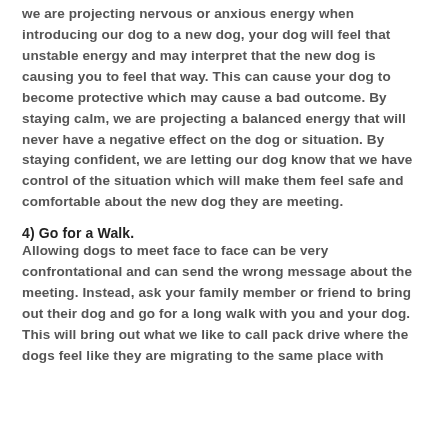we are projecting nervous or anxious energy when introducing our dog to a new dog, your dog will feel that unstable energy and may interpret that the new dog is causing you to feel that way. This can cause your dog to become protective which may cause a bad outcome. By staying calm, we are projecting a balanced energy that will never have a negative effect on the dog or situation. By staying confident, we are letting our dog know that we have control of the situation which will make them feel safe and comfortable about the new dog they are meeting.
4) Go for a Walk.
Allowing dogs to meet face to face can be very confrontational and can send the wrong message about the meeting. Instead, ask your family member or friend to bring out their dog and go for a long walk with you and your dog. This will bring out what we like to call pack drive where the dogs feel like they are migrating to the same place with